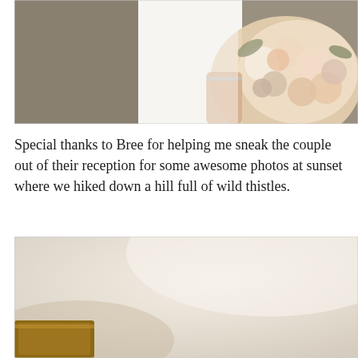[Figure (photo): Close-up wedding photo showing bride in white dress holding a bouquet of cream, peach, and blush flowers with greenery. The background shows a textured surface on the left side.]
Special thanks to Bree for helping me sneak the couple out of their reception for some awesome photos at sunset where we hiked down a hill full of wild thistles.
[Figure (photo): Warm-toned soft-focus photo with beige and cream tones, showing an interior setting with a warm light source. A wooden element is visible at the lower left corner.]